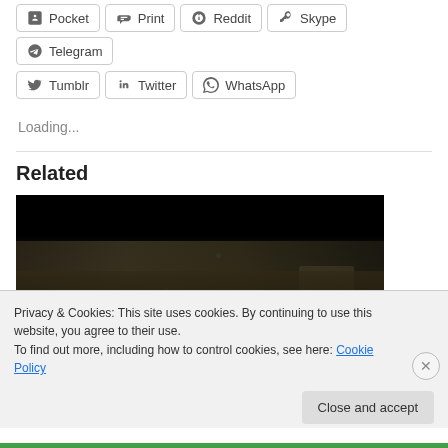Pocket | Print | Reddit | Skype | Telegram | Tumblr | Twitter | WhatsApp
Loading...
Related
[Figure (screenshot): Dark screenshot of a game or application showing a dark scene with small green/teal glowing dots]
Privacy & Cookies: This site uses cookies. By continuing to use this website, you agree to their use.
To find out more, including how to control cookies, see here: Cookie Policy
Close and accept